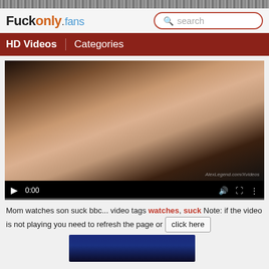Fuckonly.fans
HD Videos | Categories
[Figure (screenshot): Video player showing adult content thumbnail with playback controls showing 0:00, watermark AlexLegend.com/Xvideos]
Mom watches son suck bbc... video tags watches, suck Note: if the video is not playing you need to refresh the page or click here
[Figure (screenshot): Partial thumbnail preview at bottom of page]